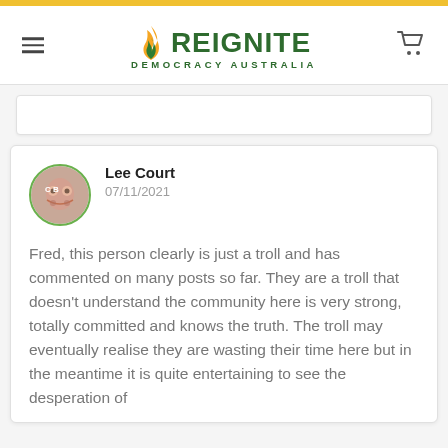[Figure (logo): Reignite Democracy Australia logo with green flame and text]
Lee Court
07/11/2021
Fred, this person clearly is just a troll and has commented on many posts so far. They are a troll that doesn't understand the community here is very strong, totally committed and knows the truth. The troll may eventually realise they are wasting their time here but in the meantime it is quite entertaining to see the desperation of